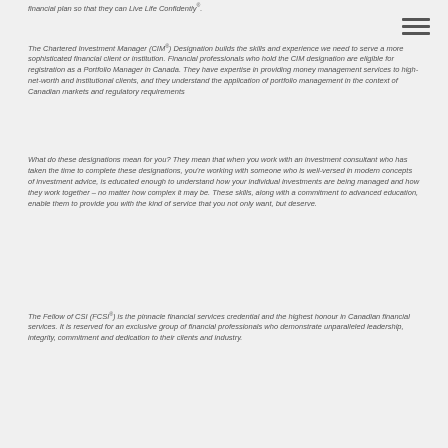financial plan so that they can Live Life Confidently.
[Figure (other): Hamburger menu icon (three horizontal lines) in the top right corner]
The Chartered Investment Manager (CIM®) Designation builds the skills and experience we need to serve a more sophisticated financial client or institution. Financial professionals who hold the CIM designation are eligible for registration as a Portfolio Manager in Canada. They have expertise in providing money management services to high-net-worth and institutional clients, and they understand the application of portfolio management in the context of Canadian markets and regulatory requirements
What do these designations mean for you? They mean that when you work with an investment consultant who has taken the time to complete these designations, you're working with someone who is well-versed in modern concepts of investment advice, is educated enough to understand how your individual investments are being managed and how they work together – no matter how complex it may be. These skills, along with a commitment to advanced education, enable them to provide you with the kind of service that you not only want, but deserve.
The Fellow of CSI (FCSI®) is the pinnacle financial services credential and the highest honour in Canadian financial services. It is reserved for an exclusive group of financial professionals who demonstrate unparalleled leadership, integrity, commitment and dedication to their clients and industry.